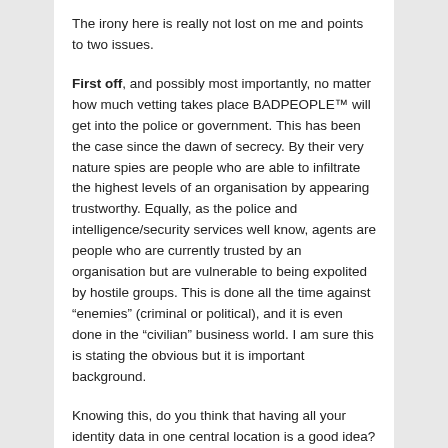The irony here is really not lost on me and points to two issues.
First off, and possibly most importantly, no matter how much vetting takes place BADPEOPLE™ will get into the police or government. This has been the case since the dawn of secrecy. By their very nature spies are people who are able to infiltrate the highest levels of an organisation by appearing trustworthy. Equally, as the police and intelligence/security services well know, agents are people who are currently trusted by an organisation but are vulnerable to being expolited by hostile groups. This is done all the time against “enemies” (criminal or political), and it is even done in the “civilian” business world. I am sure this is stating the obvious but it is important background.
Knowing this, do you think that having all your identity data in one central location is a good idea? For ID cards to work, huge swathes of people need to be able to access the database – which causes errors. The data has